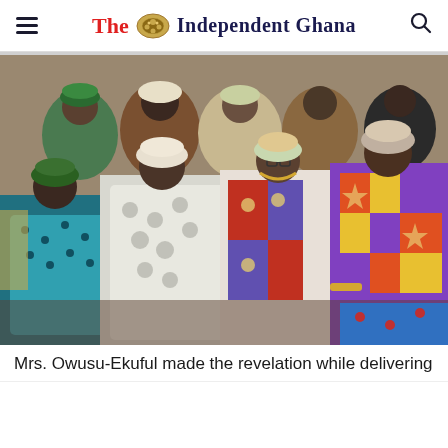The Independent Ghana
[Figure (photo): Group of women in colorful traditional African attire seated at an event, wearing head wraps and traditional dresses in various bright patterns and colors.]
Mrs. Owusu-Ekuful made the revelation while delivering